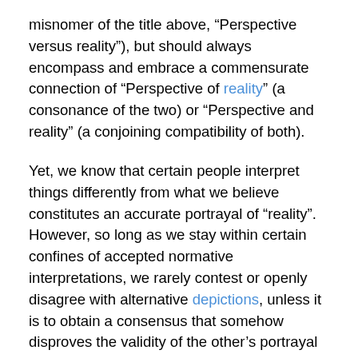misnomer of the title above, “Perspective versus reality”), but should always encompass and embrace a commensurate connection of “Perspective of reality” (a consonance of the two) or “Perspective and reality” (a conjoining compatibility of both).
Yet, we know that certain people interpret things differently from what we believe constitutes an accurate portrayal of “reality”.  However, so long as we stay within certain confines of accepted normative interpretations, we rarely contest or openly disagree with alternative depictions, unless it is to obtain a consensus that somehow disproves the validity of the other’s portrayal (i.e., “Yes, but John, Joe and May agree with me”, as if quantification of perspectives somehow diminishes the accuracy of another’s; as opposed to saying, “Well, Copernicus thought otherwise while the rest of the world continued to